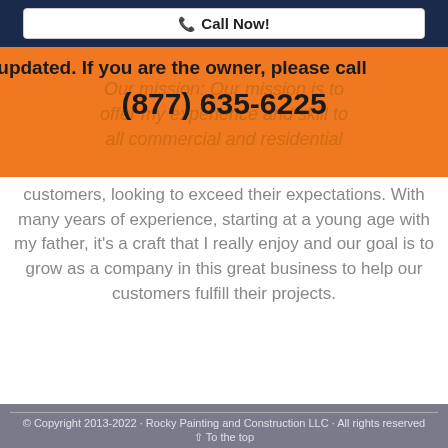📞 Call Now!
updated. If you are the owner, please call
Our mission: Our mission is to offer my experience and skill to all commercial and residential customers, looking to exceed their expectations. With many years of experience, starting at a young age with my father, it's a craft that I really enjoy and our goal is to grow as a company in this great business to help our customers fulfill their projects.
(877) 635-6225
© Copyright 2013-2022 · Rocky Painting and Construction LLC · All rights reserved
^ To the top